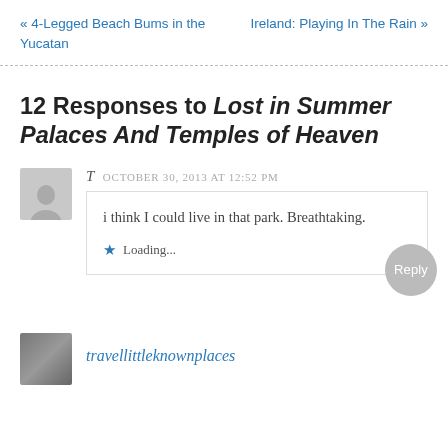« 4-Legged Beach Bums in the Yucatan    Ireland: Playing In The Rain »
12 Responses to Lost in Summer Palaces And Temples of Heaven
T  OCTOBER 30, 2013 AT 12:52 PM
i think I could live in that park. Breathtaking.
Loading...
travellittleknownplaces